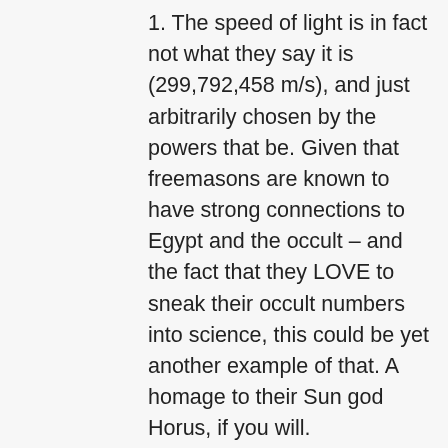1. The speed of light is in fact not what they say it is (299,792,458 m/s), and just arbitrarily chosen by the powers that be. Given that freemasons are known to have strong connections to Egypt and the occult – and the fact that they LOVE to sneak their occult numbers into science, this could be yet another example of that. A homage to their Sun god Horus, if you will.
Alternatively:
2. If the speed of light is in fact what we're told it is, then it would appear that the relationship between...